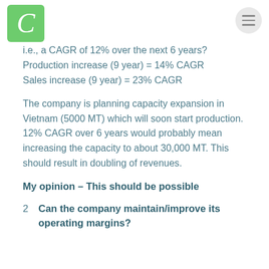C [logo]
i.e., a CAGR of 12% over the next 6 years?
Production increase (9 year) = 14% CAGR
Sales increase (9 year) = 23% CAGR
The company is planning capacity expansion in Vietnam (5000 MT) which will soon start production. 12% CAGR over 6 years would probably mean increasing the capacity to about 30,000 MT. This should result in doubling of revenues.
My opinion – This should be possible
2. Can the company maintain/improve its operating margins?